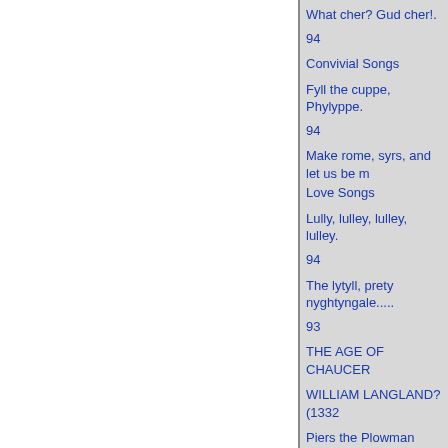What cher? Gud cher!.
94
Convivial Songs
Fyll the cuppe, Phylyppe.
94
Make rome, syrs, and let us be m
Love Songs
Lully, lulley, lulley, lulley.
94
The lytyll, prety nyghtyngale.....
93
THE AGE OF CHAUCER
WILLIAM LANGLAND? (1332
Piers the Plowman
The Prologue, A-Text..
24
The Prologue, B-Text: The Fable